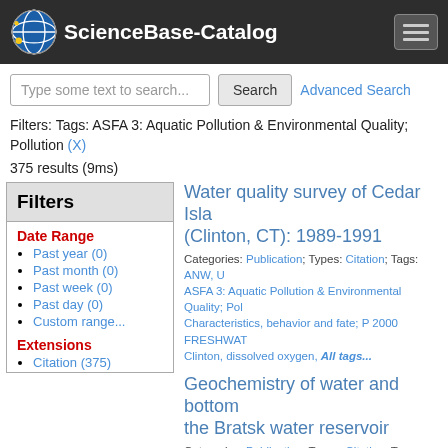ScienceBase-Catalog
Type some text to search... Search Advanced Search
Filters: Tags: ASFA 3: Aquatic Pollution & Environmental Quality; Pollution (X)
375 results (9ms)
Filters
Date Range
Past year (0)
Past month (0)
Past week (0)
Past day (0)
Custom range...
Extensions
Citation (375)
Water quality survey of Cedar Isla (Clinton, CT): 1989-1991
Categories: Publication; Types: Citation; Tags: ANW, U ASFA 3: Aquatic Pollution & Environmental Quality; Pol Characteristics, behavior and fate; P 2000 FRESHWAT Clinton, dissolved oxygen, All tags...
Geochemistry of water and bottom the Bratsk water reservoir
Categories: Publication; Types: Citation; Tags: ASFA 3: Environmental Quality; Pollution, Geochemistry, Q5 01 behavior and fate; P 2000 FRESHWAT, Reservoirs, Ru